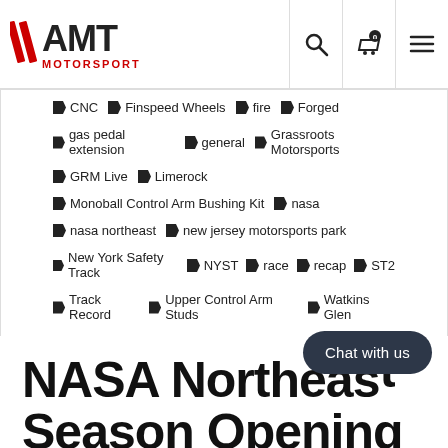AMT Motorsport
CNC  Finspeed Wheels  fire  Forged
gas pedal extension  general  Grassroots Motorsports
GRM Live  Limerock
Monoball Control Arm Bushing Kit  nasa
nasa northeast  new jersey motorsports park
New York Safety Track  NYST  race  recap  ST2
Track Record  Upper Control Arm Studs  Watkins Glen
NASA Northeast Season Opening...